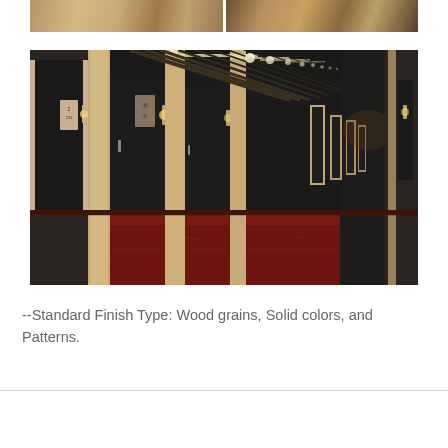[Figure (photo): Two small cropped photos of hotel corridor woodwork and furniture finishes at top]
[Figure (photo): Large photo of a modern hotel corridor with dark doors, light wood trim, red patterned carpet, and linear LED ceiling lights receding into the distance]
--Standard Finish Type: Wood grains, Solid colors, and Patterns.